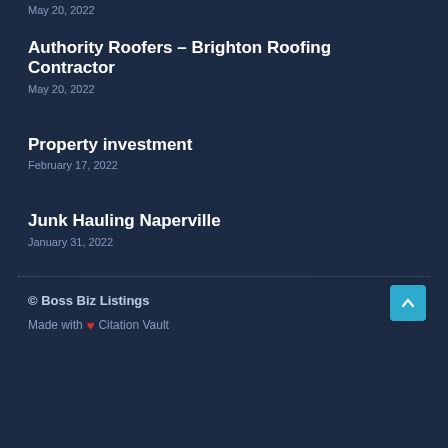May 20, 2022
Authority Roofers – Brighton Roofing Contractor
May 20, 2022
Property investment
February 17, 2022
Junk Hauling Naperville
January 31, 2022
© Boss Biz Listings
Made with ❤ Citation Vault